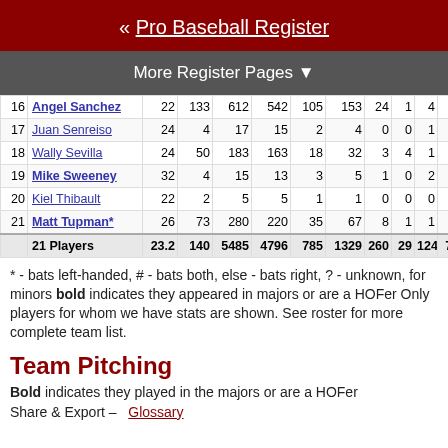« Pro Baseball Register
More Register Pages ▼
| # | Name | Age | G | PA | AB | R | H | 2B | 3B | HR | RBI | SB | CS |
| --- | --- | --- | --- | --- | --- | --- | --- | --- | --- | --- | --- | --- | --- |
| 16 | Angel Sanchez | 22 | 133 | 612 | 542 | 105 | 153 | 24 | 1 | 4 | 57 | 8 | 9 |
| 17 | Juan Senreiso | 24 | 4 | 17 | 15 | 2 | 4 | 0 | 0 | 1 | 4 | 0 | 0 |
| 18 | Wally Sevilla | 24 | 50 | 183 | 163 | 18 | 32 | 3 | 4 | 1 | 14 | 2 | 0 |
| 19 | Mike Sweeney | 32 | 4 | 15 | 13 | 3 | 5 | 1 | 0 | 2 | 5 | 0 | 0 |
| 20 | Kiel Thibault | 22 | 2 | 5 | 5 | 1 | 1 | 0 | 0 | 0 | 0 | 0 | 0 |
| 21 | Matt Tupman* | 26 | 73 | 280 | 220 | 35 | 67 | 8 | 1 | 1 | 31 | 1 | 1 |
|  | 21 Players | 23.2 | 140 | 5485 | 4796 | 785 | 1329 | 260 | 29 | 124 | 722 | 69 | 44 5 |
* - bats left-handed, # - bats both, else - bats right, ? - unknown, for minors bold indicates they appeared in majors or are a HOFer Only players for whom we have stats are shown. See roster for more complete team list.
Team Pitching
Bold indicates they played in the majors or are a HOFer
Share & Export –   Glossary